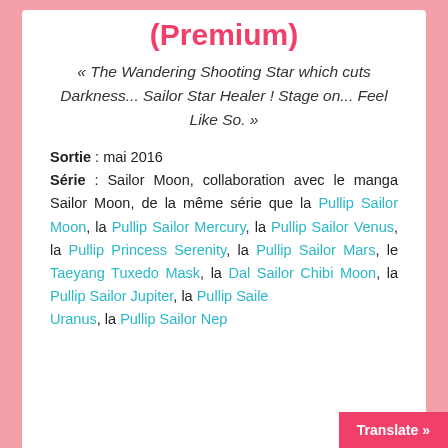(Premium)
« The Wandering Shooting Star which cuts Darkness... Sailor Star Healer ! Stage on... Feel Like So. »
Sortie : mai 2016
Série : Sailor Moon, collaboration avec le manga Sailor Moon, de la même série que la Pullip Sailor Moon, la Pullip Sailor Mercury, la Pullip Sailor Venus, la Pullip Princess Serenity, la Pullip Sailor Mars, le Taeyang Tuxedo Mask, la Dal Sailor Chibi Moon, la Pullip Sailor Jupiter, la Pullip Sailor Uranus, la Pullip Sailor Nep...
Translate »